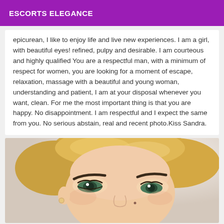ESCORTS ELEGANCE
epicurean, I like to enjoy life and live new experiences. I am a girl, with beautiful eyes! refined, pulpy and desirable. I am courteous and highly qualified You are a respectful man, with a minimum of respect for women, you are looking for a moment of escape, relaxation, massage with a beautiful and young woman, understanding and patient, I am at your disposal whenever you want, clean. For me the most important thing is that you are happy. No disappointment. I am respectful and I expect the same from you. No serious abstain, real and recent photo.Kiss Sandra.
[Figure (photo): Close-up photo of a blonde woman's face, showing her eyes and hair, with soft lighting]